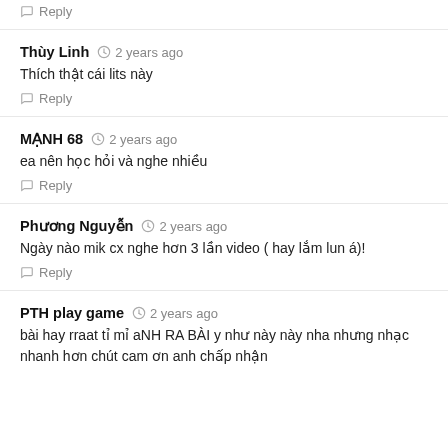Reply
Thùy Linh · 2 years ago
Thích thật cái lits này
Reply
MẠNH 68 · 2 years ago
ea nên học hỏi và nghe nhiều
Reply
Phương Nguyễn · 2 years ago
Ngày nào mik cx nghe hơn 3 lần video ( hay lắm lun á)!
Reply
PTH play game · 2 years ago
bài hay rraat tỉ mỉ aNH RA BÀI y như này này nha nhưng nhạc nhanh hơn chút cam ơn anh chấp nhận